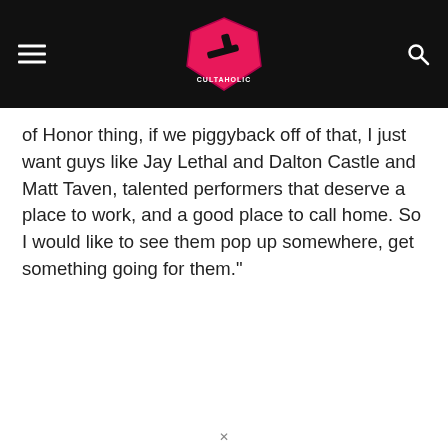Cultaholic
of Honor thing, if we piggyback off of that, I just want guys like Jay Lethal and Dalton Castle and Matt Taven, talented performers that deserve a place to work, and a good place to call home. So I would like to see them pop up somewhere, get something going for them."